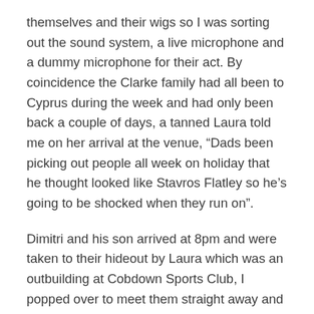themselves and their wigs so I was sorting out the sound system, a live microphone and a dummy microphone for their act. By coincidence the Clarke family had all been to Cyprus during the week and had only been back a couple of days, a tanned Laura told me on her arrival at the venue, “Dads been picking out people all week on holiday that he thought looked like Stavros Flatley so he’s going to be shocked when they run on”.
Dimitri and his son arrived at 8pm and were taken to their hideout by Laura which was an outbuilding at Cobdown Sports Club, I popped over to meet them straight away and cover the music, basically it was three tracks mixed into one file so it just needed stopping at various points. We were chatting for a while whilst they were getting changed and I couldn’t believe it had been 4 years since they had been on Britains Got Talent, Dimitri said “We